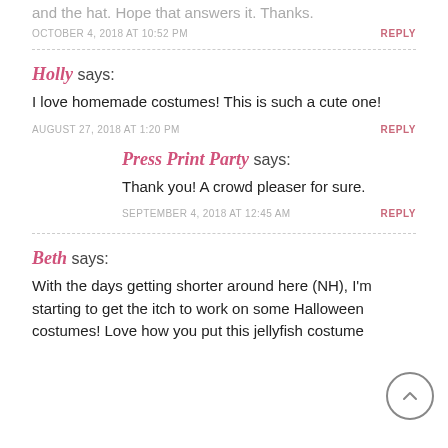and the hat. Hope that answers it. Thanks.
OCTOBER 4, 2018 AT 10:52 PM
REPLY
Holly says:
I love homemade costumes! This is such a cute one!
AUGUST 27, 2018 AT 1:20 PM
REPLY
Press Print Party says:
Thank you! A crowd pleaser for sure.
SEPTEMBER 4, 2018 AT 12:45 AM
REPLY
Beth says:
With the days getting shorter around here (NH), I'm starting to get the itch to work on some Halloween costumes! Love how you put this jellyfish costume